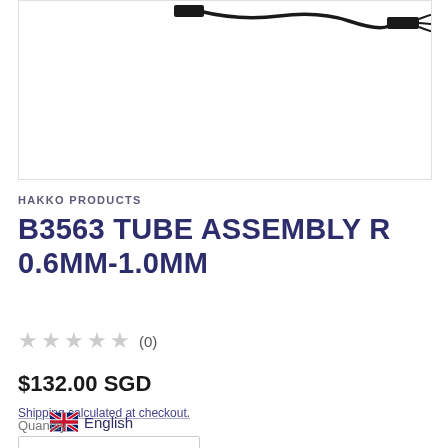[Figure (photo): Product photo of B3563 Tube Assembly R cable with black connectors on white background, partially cropped showing top portion]
HAKKO PRODUCTS
B3563 TUBE ASSEMBLY R 0.6MM-1.0MM
★★★★★ (0)
$132.00 SGD
Shipping calculated at checkout.
English
Quantity